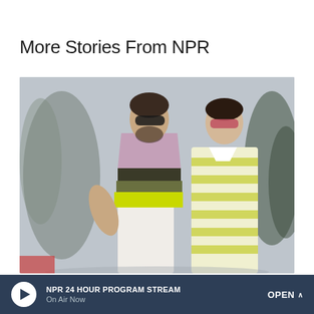More Stories From NPR
[Figure (photo): Two young men standing side by side in front of a light gray background with a tropical plant. The man on the left wears sunglasses and a colorful chevron-striped top in shades of olive, dark green, and neon yellow with light-colored trousers. The man on the right wears pink-tinted rectangular glasses and a yellow and white striped polo shirt.]
POP CULTURE
NPR 24 HOUR PROGRAM STREAM On Air Now OPEN